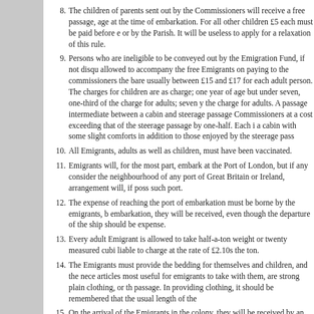8. The children of parents sent out by the Commissioners will receive a free passage, age at the time of embarkation. For all other children £5 each must be paid before e or by the Parish. It will be useless to apply for a relaxation of this rule.
9. Persons who are ineligible to be conveyed out by the Emigration Fund, if not disqu allowed to accompany the free Emigrants on paying to the commissioners the bare usually between £15 and £17 for each adult person. The charges for children are as charge; one year of age but under seven, one-third of the charge for adults; seven y the charge for adults. A passage intermediate between a cabin and steerage passage Commissioners at a cost exceeding that of the steerage passage by one-half. Each i a cabin with some slight comforts in addition to those enjoyed by the steerage pass
10. All Emigrants, adults as well as children, must have been vaccinated.
11. Emigrants will, for the most part, embark at the Port of London, but if any consider the neighbourhood of any port of Great Britain or Ireland, arrangement will, if poss such port.
12. The expense of reaching the port of embarkation must be borne by the emigrants, b embarkation, they will be received, even though the departure of the ship should be expense.
13. Every adult Emigrant is allowed to take half-a-ton weight or twenty measured cubi liable to charge at the rate of £2.10s the ton.
14. The Emigrants must provide the bedding for themselves and children, and the nece articles most useful for emigrants to take with them, are strong plain clothing, or th passage. In providing clothing, it should be remembered that the usual length of the
15. On the arrival of the Emigrants in the colony, they will be received by an Officer, w assist them in reaching the place of their destination, be ready to advise with them them employment at reduced wages on the Government works; if from any case